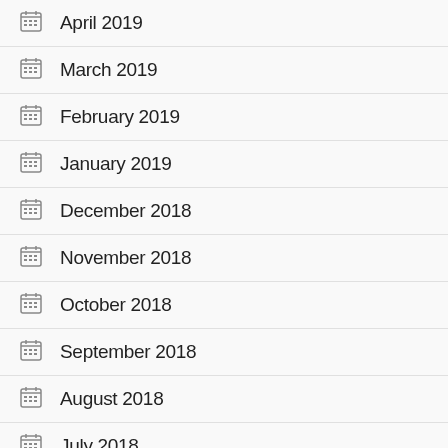April 2019
March 2019
February 2019
January 2019
December 2018
November 2018
October 2018
September 2018
August 2018
July 2018